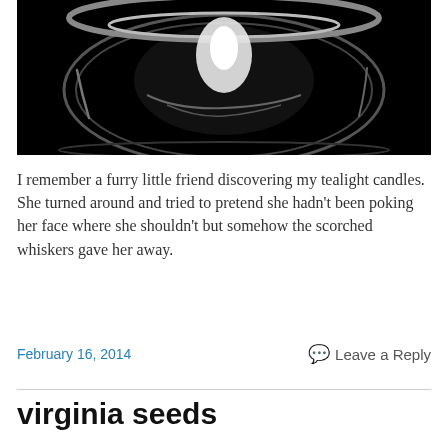[Figure (photo): Black and white close-up photograph of a glass tealight candle holder from above, showing the circular glass rim and a white flame or reflection inside against a black background.]
I remember a furry little friend discovering my tealight candles.  She turned around and tried to pretend she hadn't been poking her face where she shouldn't but somehow the scorched whiskers gave her away.
February 16, 2014
Leave a Reply
virginia seeds